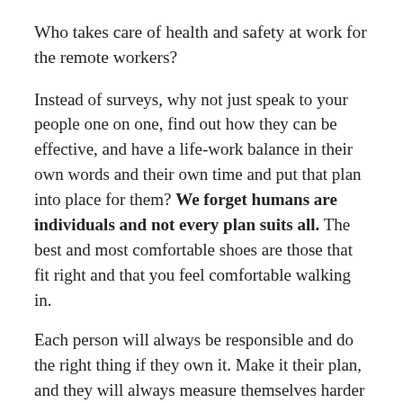Who takes care of health and safety at work for the remote workers?
Instead of surveys, why not just speak to your people one on one, find out how they can be effective, and have a life-work balance in their own words and their own time and put that plan into place for them? We forget humans are individuals and not every plan suits all. The best and most comfortable shoes are those that fit right and that you feel comfortable walking in.
Each person will always be responsible and do the right thing if they own it. Make it their plan, and they will always measure themselves harder than you ever will.